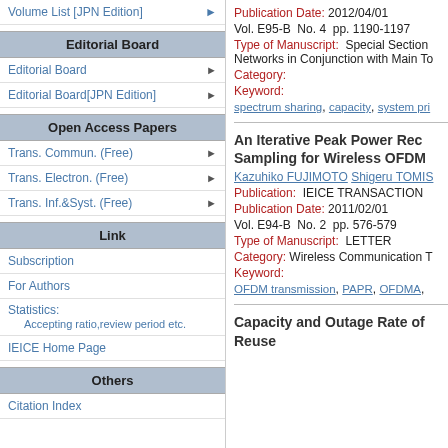Volume List [JPN Edition]
Editorial Board
Editorial Board
Editorial Board[JPN Edition]
Open Access Papers
Trans. Commun. (Free)
Trans. Electron. (Free)
Trans. Inf.&Syst. (Free)
Link
Subscription
For Authors
Statistics:
Accepting ratio,review period etc.
IEICE Home Page
Others
Citation Index
Publication Date: 2012/04/01
Vol. E95-B  No. 4  pp. 1190-1197
Type of Manuscript:  Special Section Networks in Conjunction with Main To
Category:
Keyword:
spectrum sharing, capacity, system pri
An Iterative Peak Power Rec Sampling for Wireless OFDM
Kazuhiko FUJIMOTO Shigeru TOMIS
Publication:  IEICE TRANSACTION
Publication Date: 2011/02/01
Vol. E94-B  No. 2  pp. 576-579
Type of Manuscript:  LETTER
Category: Wireless Communication T
Keyword:
OFDM transmission, PAPR, OFDMA,
Capacity and Outage Rate of Reuse